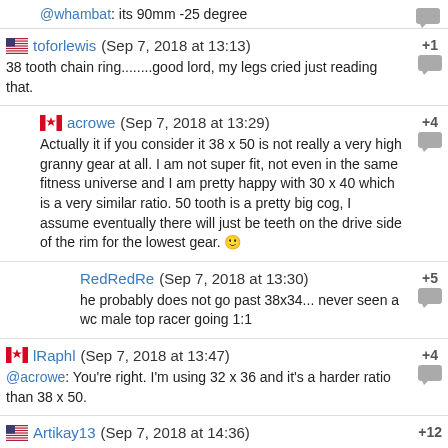@whambat: its 90mm -25 degree
toforlewis (Sep 7, 2018 at 13:13) +1
38 tooth chain ring........good lord, my legs cried just reading that.
acrowe (Sep 7, 2018 at 13:29) +4
Actually it if you consider it 38 x 50 is not really a very high granny gear at all. I am not super fit, not even in the same fitness universe and I am pretty happy with 30 x 40 which is a very similar ratio. 50 tooth is a pretty big cog, I assume eventually there will just be teeth on the drive side of the rim for the lowest gear. 🙂
RedRedRe (Sep 7, 2018 at 13:30) +5
he probably does not go past 38x34... never seen a wc male top racer going 1:1
lRaphl (Sep 7, 2018 at 13:47) +4
@acrowe: You're right. I'm using 32 x 36 and it's a harder ratio than 38 x 50.
Artikay13 (Sep 7, 2018 at 14:36) +12